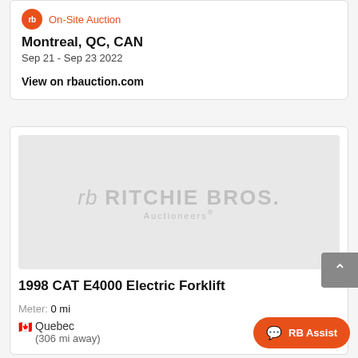On-Site Auction
Montreal, QC, CAN
Sep 21 - Sep 23 2022
View on rbauction.com
[Figure (logo): Ritchie Bros. Auctioneers watermark logo on gray placeholder image background]
1998 CAT E4000 Electric Forklift
Meter: 0 mi
Quebec (306 mi away)